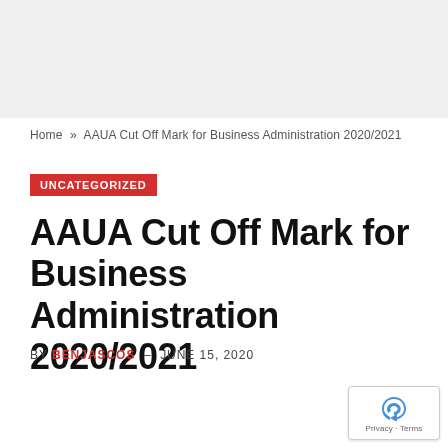Home » AAUA Cut Off Mark for Business Administration 2020/2021
UNCATEGORIZED
AAUA Cut Off Mark for Business Administration 2020/2021
BY BENJASCOS - JUNE 15, 2020
[Figure (other): reCAPTCHA badge with privacy and terms links]